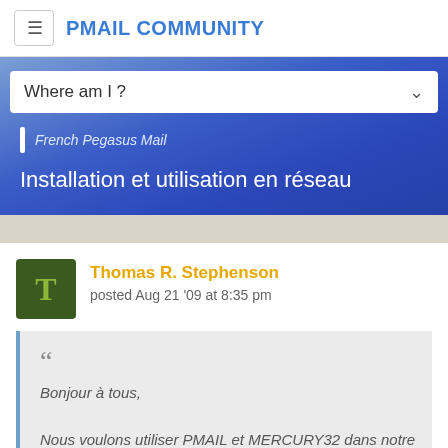PMAIL COMMUNITY
Where am I ?
French Pegasus Mail
Installation et utilisation en réseau
Thomas R. Stephenson
posted Aug 21 '09 at 8:35 pm
Bonjour à tous,

Nous voulons utiliser PMAIL et MERCURY32 dans notre entreprise pour communiquer en interne et avec l'extérieur.